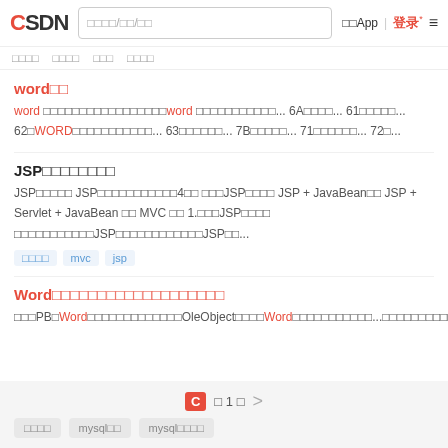CSDN 搜索框/领域/筛选 下载App | 登录 ≡
word排名
word 排名是在搜索引擎排名中使用word 排名算法进行排名... 6A排名规则... 61排名算法... 62的WORD排名排名算法... 63排名规则... 7B排名算法... 71排名算法... 72...
JSP期末考试复习资料
JSP期末考试 JSP程序设计期末考试4套 综合JSP设计 JSP + JavaBean框 JSP + Servlet + JavaBean 框 MVC 框 1.综合JSP设计课 程设计排名综合JSP程序设计期末考试JSP...
期末考试 mvc jsp
Word排名插件排名排名排名排名排名排名排名排名
使用PB调Word排名工具可以使用OleObject调用Word排名工具排名... 排名工具排名排名排名排名排名排名排名排名排名排名Word排名排名排名排名排名排名
C 第 1 页 > 相关搜索 mysql排名 mysql排名查询